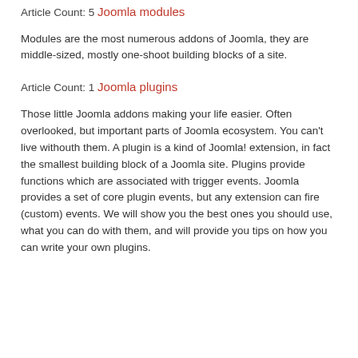Article Count:
5
Joomla modules
Modules are the most numerous addons of Joomla, they are middle-sized, mostly one-shoot building blocks of a site.
Article Count:
1
Joomla plugins
Those little Joomla addons making your life easier. Often overlooked, but important parts of Joomla ecosystem. You can't live withouth them. A plugin is a kind of Joomla! extension, in fact the smallest building block of a Joomla site. Plugins provide functions which are associated with trigger events. Joomla provides a set of core plugin events, but any extension can fire (custom) events. We will show you the best ones you should use, what you can do with them, and will provide you tips on how you can write your own plugins.